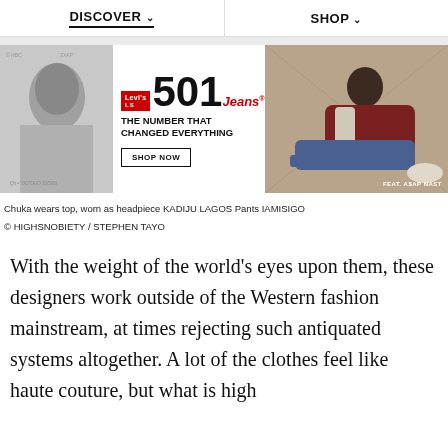DISCOVER  SHOP
[Figure (photo): Advertisement banner for Levi's 501 jeans featuring black-and-white photo on the left and a man reclining in jeans on the right with text 'THE NUMBER THAT CHANGED EVERYTHING' and 'SHOP NOW' button, featuring A$AP Nast]
Chuka wears top, worn as headpiece KADIJU LAGOS Pants IAMISIGO
© HIGHSNOBIETY / STEPHEN TAYO
With the weight of the world's eyes upon them, these designers work outside of the Western fashion mainstream, at times rejecting such antiquated systems altogether. A lot of the clothes feel like haute couture, but what is high